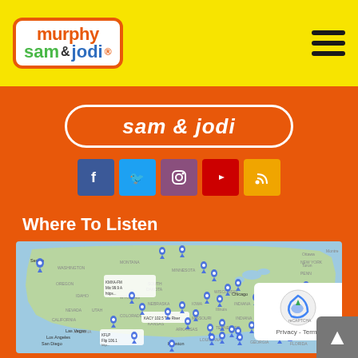Murphy Sam & Jodi
[Figure (logo): Murphy Sam & Jodi logo in rounded rectangle with orange border on yellow background]
[Figure (infographic): Social media icons: Facebook, Twitter, Instagram, YouTube, RSS on orange background]
Where To Listen
[Figure (map): Google map of the United States showing blue pin markers for radio station locations across the country. Visible labels include Seattle, Washington, Oregon, Nevada, California, Las Vegas, Los Angeles, San Diego, Montana, Idaho, Wyoming, Utah, Colorado, Arizona, South Dakota, Nebraska, Kansas, Texas, Houston, Minnesota, Iowa, Missouri, Arkansas, Louisiana, Illinois, Indiana, Michigan, Ohio, West Virginia, Virginia, Tennessee, Georgia, Florida, New York, Pennsylvania, Ottawa, Montreal, Toronto. Station labels visible: KMXA-FM Mix 99.9, KACY, 102.5 The River, KFLP Flip 106.1. Also shows a reCAPTCHA widget in bottom right corner with Privacy and Terms links.]